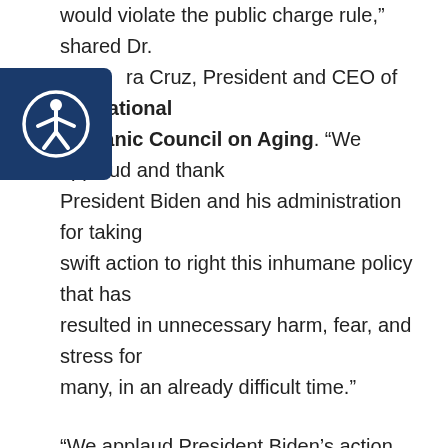would violate the public charge rule,” shared Dr. …ra Cruz, President and CEO of the National Hispanic Council on Aging. “We applaud and thank President Biden and his administration for taking swift action to right this inhumane policy that has resulted in unnecessary harm, fear, and stress for many, in an already difficult time.”
[Figure (logo): Accessibility icon: circular icon with a person figure, white on dark navy blue background]
“We applaud President Biden’s action today towards reversing the Trump Administration’s harmful and unnecessary public charge rule, which has forced many immigrants to forgo necessary food, shelter, and medical appointments during this pandemic. Immigrants are an essential part of the direct care workforce and deserve to be fully supported as they